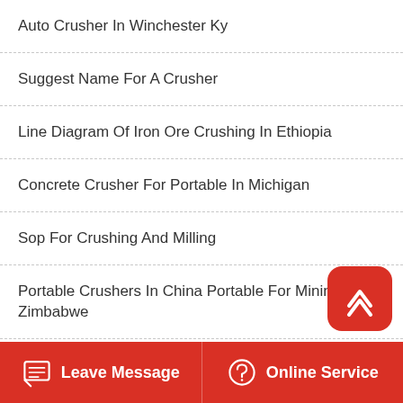Auto Crusher In Winchester Ky
Suggest Name For A Crusher
Line Diagram Of Iron Ore Crushing In Ethiopia
Concrete Crusher For Portable In Michigan
Sop For Crushing And Milling
Portable Crushers In China Portable For Mining In Zimbabwe
Crusher Plant Malaysia
Crusher Capacity 1000 Tph
Aggregate Crusher Production
Leave Message | Online Service